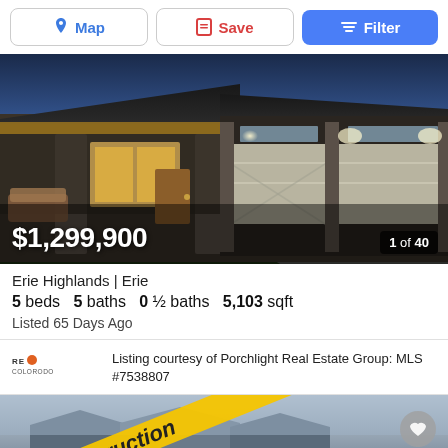Map | Save | Filter
[Figure (photo): Exterior photo of a luxury craftsman home with stone pillars, covered porch with outdoor furniture, and a triple-car garage with driveway, taken at dusk.]
$1,299,900
1 of 40
Erie Highlands | Erie
5 beds  5 baths  0 ½ baths  5,103 sqft
Listed 65 Days Ago
Listing courtesy of Porchlight Real Estate Group: MLS #7538807
[Figure (photo): Partial photo of another property listing with yellow under construction tape diagonally across it and a heart/favorite button in the bottom right corner.]